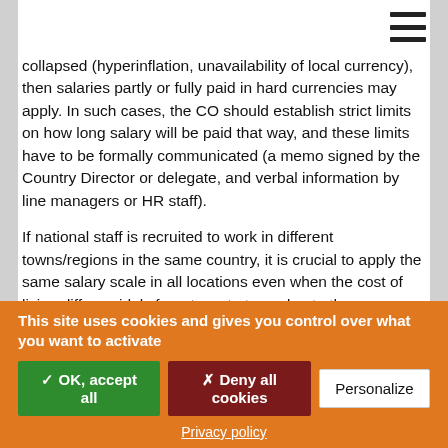[Figure (other): Hamburger menu icon (three horizontal bars) in top right corner]
collapsed (hyperinflation, unavailability of local currency), then salaries partly or fully paid in hard currencies may apply. In such cases, the CO should establish strict limits on how long salary will be paid that way, and these limits have to be formally communicated (a memo signed by the Country Director or delegate, and verbal information by line managers or HR staff).
If national staff is recruited to work in different towns/regions in the same country, it is crucial to apply the same salary scale in all locations even when the cost of living differs widely from town to town due to the emergency situation prevailing. Those differences should be compensated by the cost of living allowance paid to staff working in more expensive locations.
The allowances must be announced by formal communication (signed by the Country Director or delegate) in which it is also
This site uses cookies and gives you control over what you want to activate
✓ OK, accept all
✗ Deny all cookies
Personalize
Privacy policy